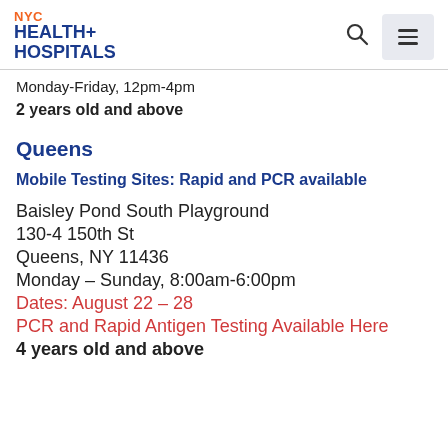NYC HEALTH+ HOSPITALS
Monday-Friday, 12pm-4pm
2 years old and above
Queens
Mobile Testing Sites: Rapid and PCR available
Baisley Pond South Playground
130-4 150th St
Queens, NY 11436
Monday – Sunday, 8:00am-6:00pm
Dates: August 22 – 28
PCR and Rapid Antigen Testing Available Here
4 years old and above